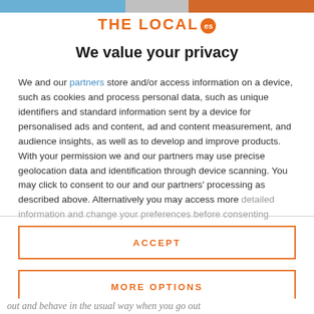[Figure (logo): The Local ES logo with orange text and orange circle badge with 'es']
We value your privacy
We and our partners store and/or access information on a device, such as cookies and process personal data, such as unique identifiers and standard information sent by a device for personalised ads and content, ad and content measurement, and audience insights, as well as to develop and improve products. With your permission we and our partners may use precise geolocation data and identification through device scanning. You may click to consent to our and our partners' processing as described above. Alternatively you may access more detailed information and change your preferences before consenting
ACCEPT
MORE OPTIONS
out and behave in the usual way when you go out